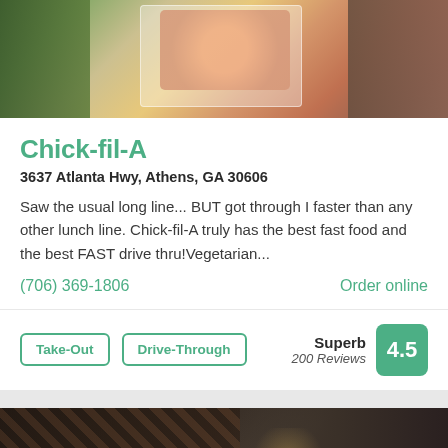[Figure (photo): Top banner photo showing Chick-fil-A food items and menu cards]
Chick-fil-A
3637 Atlanta Hwy, Athens, GA 30606
Saw the usual long line... BUT got through I faster than any other lunch line. Chick-fil-A truly has the best fast food and the best FAST drive thru!Vegetarian...
(706) 369-1806
Order online
Take-Out
Drive-Through
Superb
200 Reviews
4.5
[Figure (photo): Bottom photo of an Italian restaurant interior showing bar area, wine racks, dark ambiance with text overlay ITALIAN • $$]